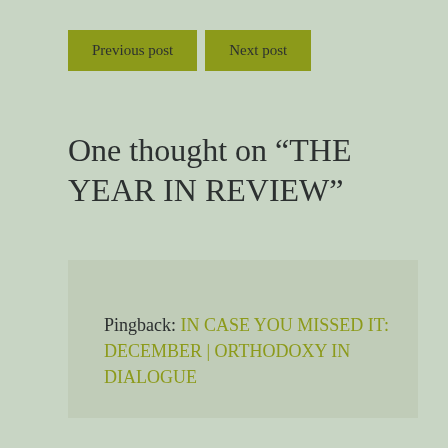Previous post
Next post
One thought on “THE YEAR IN REVIEW”
Pingback: IN CASE YOU MISSED IT: DECEMBER | ORTHODOXY IN DIALOGUE